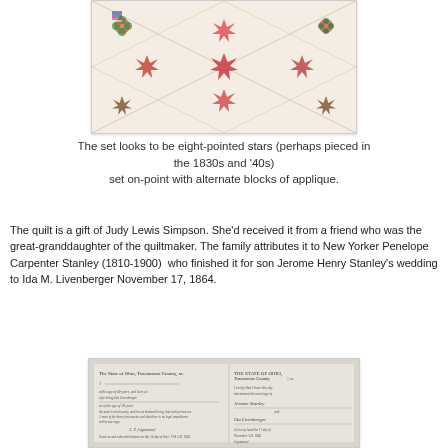[Figure (photo): Close-up photograph of a colorful antique quilt with eight-pointed star pattern and applique blocks, featuring red, green, pink, and brown fabrics on a white background.]
The set looks to be eight-pointed stars (perhaps pieced in the 1830s and '40s) set on-point with alternate blocks of applique.
The quilt is a gift of Judy Lewis Simpson. She'd received it from a friend who was the great-granddaughter of the quiltmaker. The family attributes it to New Yorker Penelope Carpenter Stanley (1810-1900)  who finished it for son Jerome Henry Stanley's wedding to Ida M. Livenberger November 17, 1864.
[Figure (photo): Black and white photograph of a historical legal document — The State of Ohio, Tuscarawas County marriage record with cursive handwriting.]